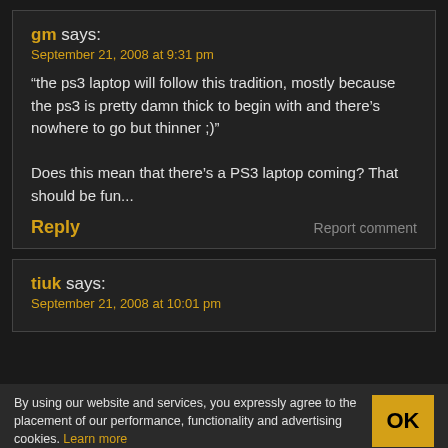gm says:
September 21, 2008 at 9:31 pm
“the ps3 laptop will follow this tradition, mostly because the ps3 is pretty damn thick to begin with and there’s nowhere to go but thinner ;)”

Does this mean that there’s a PS3 laptop coming? That should be fun...
Reply
Report comment
tiuk says:
September 21, 2008 at 10:01 pm
By using our website and services, you expressly agree to the placement of our performance, functionality and advertising cookies. Learn more
OK